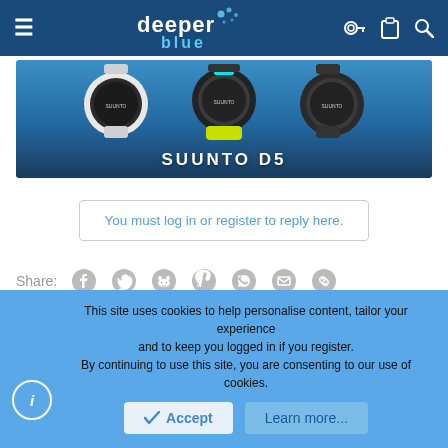DeeperBlue navigation header
[Figure (screenshot): Suunto D5 dive watch promotional banner showing three watches in white, dark, and white colorways on a blue background with text SUUNTO D5]
You must log in or register to reply here.
Share:
[Figure (screenshot): Suunto D5 advertisement banner showing Suunto logo, text 'Dive life made easy.' with a watch image on black background, and people around campfire on right side]
This site uses cookies to help personalise content, tailor your experience and to keep you logged in if you register.
By continuing to use this site, you are consenting to our use of cookies.